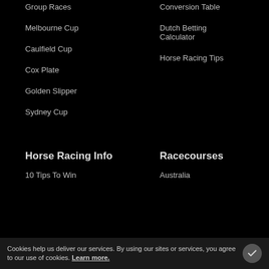Group Races
Conversion Table
Melbourne Cup
Dutch Betting Calculator
Caulfield Cup
Horse Racing Tips
Cox Plate
Golden Slipper
Sydney Cup
Horse Racing Info
Racecourses
10 Tips To Win
Australia
Cookies help us deliver our services. By using our sites or services, you agree to our use of cookies. Learn more.